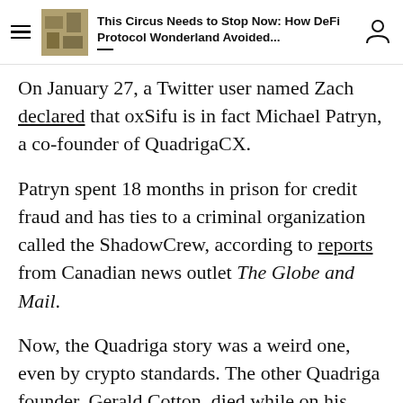This Circus Needs to Stop Now: How DeFi Protocol Wonderland Avoided...
On January 27, a Twitter user named Zach declared that oxSifu is in fact Michael Patryn, a co-founder of QuadrigaCX.
Patryn spent 18 months in prison for credit fraud and has ties to a criminal organization called the ShadowCrew, according to reports from Canadian news outlet The Globe and Mail.
Now, the Quadriga story was a weird one, even by crypto standards. The other Quadriga founder, Gerald Cotton, died while on his honeymoon in India and was apparently the only one with access to the exchange's private keys. Without access to